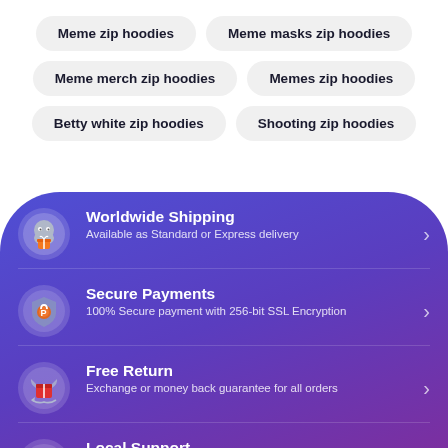Meme zip hoodies
Meme masks zip hoodies
Meme merch zip hoodies
Memes zip hoodies
Betty white zip hoodies
Shooting zip hoodies
[Figure (infographic): Blue/purple rounded banner with 4 feature sections: Worldwide Shipping, Secure Payments, Free Return, Local Support, each with icon, title, subtitle and chevron arrow.]
Worldwide Shipping
Available as Standard or Express delivery
Secure Payments
100% Secure payment with 256-bit SSL Encryption
Free Return
Exchange or money back guarantee for all orders
Local Support